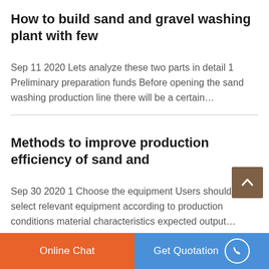How to build sand and gravel washing plant with few
Sep 11 2020 Lets analyze these two parts in detail 1 Preliminary preparation funds Before opening the sand washing production line there will be a certain…
Methods to improve production efficiency of sand and
Sep 30 2020 1 Choose the equipment Users should select relevant equipment according to production conditions material characteristics expected output…
Common Types of Surface Mining
Online Chat
Get Quotation